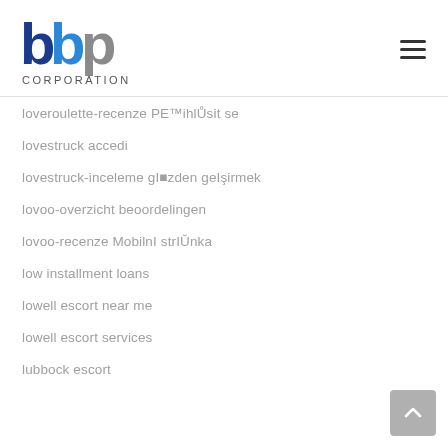[Figure (logo): BBP Corporation logo with stylized blue and grey letters and CORPORATION text below]
loveroulette-recenze PE™ihlÙsit se
lovestruck accedi
lovestruck-inceleme gI■zden geI§irmek
lovoo-overzicht beoordelingen
lovoo-recenze MobilnI strIÙnka
low installment loans
lowell escort near me
lowell escort services
lubbock escort